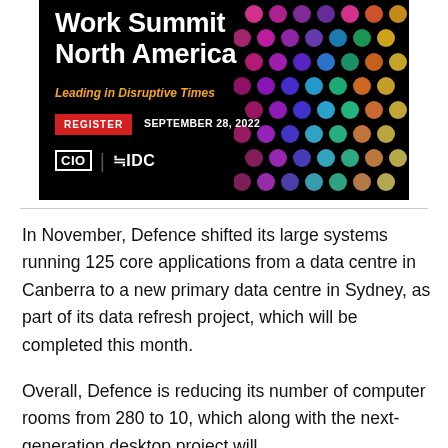[Figure (illustration): Advertisement banner for CIO/IDC Future of Work Summit North America event. Black background with colorful dots pattern. Title 'Work Summit North America', subtitle 'Leading in Disruptive Times', red REGISTER button, date September 28, 2022, and CIO and IDC logos.]
In November, Defence shifted its large systems running 125 core applications from a data centre in Canberra to a new primary data centre in Sydney, as part of its data refresh project, which will be completed this month.
Overall, Defence is reducing its number of computer rooms from 280 to 10, which along with the next-generation desktop project will